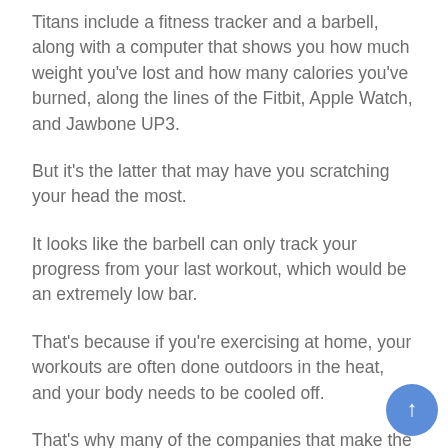Titans include a fitness tracker and a barbell, along with a computer that shows you how much weight you've lost and how many calories you've burned, along the lines of the Fitbit, Apple Watch, and Jawbone UP3.
But it's the latter that may have you scratching your head the most.
It looks like the barbell can only track your progress from your last workout, which would be an extremely low bar.
That's because if you're exercising at home, your workouts are often done outdoors in the heat, and your body needs to be cooled off.
That's why many of the companies that make the devices don't recommend using your phone while